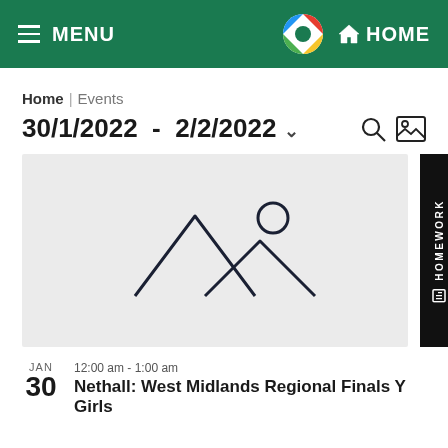MENU | HOME
Home | Events
30/1/2022 - 2/2/2022
[Figure (illustration): Image placeholder icon showing mountains and sun outline on grey background]
JAN
30
12:00 am - 1:00 am
Nethall: West Midlands Regional Finals Y Girls...